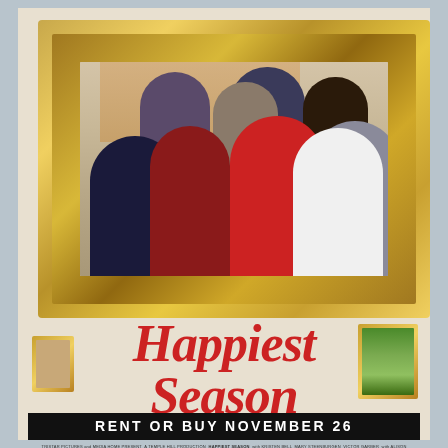[Figure (photo): Movie poster for 'Happiest Season'. Group photo of eight cast members posed inside a large ornate gold picture frame hanging on a wall. The group includes men and women smiling at the camera with a Christmas tree visible in the upper right background. Below the frame are two smaller framed artworks on either side.]
Happiest Season
This holiday, come out and meet the family.
TRISTAR PICTURES and MEDIA HOME PRESENT A TEMPLE HILL PRODUCTION HAPPIEST SEASON with KRISTEN BELL MARY STEENBURGEN VICTOR GARBER with ALISON BRIE DAN LEVY AUBREY PLAZA MACKENZIE DAVIS and MARY HOLLAND music by AMIE DAUER produced by CLEA DUVALL and MARY QUINN
RENT OR BUY NOVEMBER 26